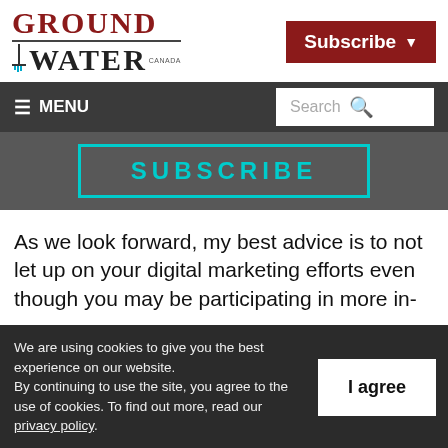[Figure (logo): Ground Water Canada logo with red serif GROUND text, dark WATER text, and small Canada label]
[Figure (screenshot): Subscribe button with dropdown arrow, dark red background, white bold text]
[Figure (screenshot): Navigation bar with hamburger menu MENU label on left and Search box on right, dark grey background]
[Figure (screenshot): Subscribe button outlined in cyan/teal on dark grey banner background]
As we look forward, my best advice is to not let up on your digital marketing efforts even though you may be participating in more in-
We are using cookies to give you the best experience on our website.
By continuing to use the site, you agree to the use of cookies. To find out more, read our privacy policy.
I agree